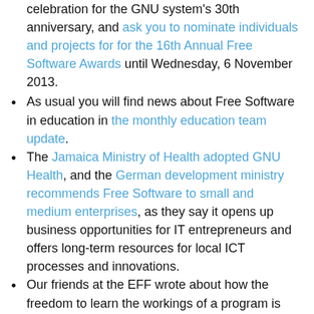celebration for the GNU system's 30th anniversary, and ask you to nominate individuals and projects for for the 16th Annual Free Software Awards until Wednesday, 6 November 2013.
As usual you will find news about Free Software in education in the monthly education team update.
The Jamaica Ministry of Health adopted GNU Health, and the German development ministry recommends Free Software to small and medium enterprises, as they say it opens up business opportunities for IT entrepreneurs and offers long-term resources for local ICT processes and innovations.
Our friends at the EFF wrote about how the freedom to learn the workings of a program is prevented in the UK in the article: "Speculation Trumps Academic Freedom: UK Court Censors Security Researchers for Reverse Engineering Publicly Available Software".
And if you have not yet read Ron Amadeo's article "Google's iron grip on Android", you should do so